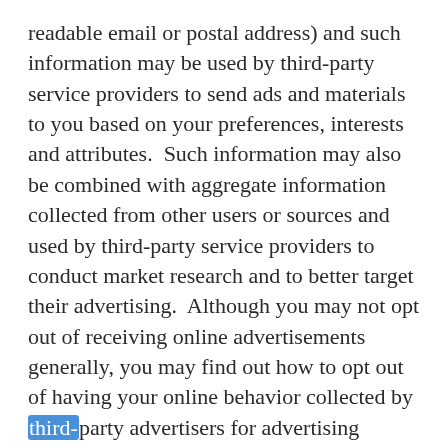readable email or postal address) and such information may be used by third-party service providers to send ads and materials to you based on your preferences, interests and attributes.  Such information may also be combined with aggregate information collected from other users or sources and used by third-party service providers to conduct market research and to better target their advertising.  Although you may not opt out of receiving online advertisements generally, you may find out how to opt out of having your online behavior collected by third-party advertisers for advertising purposes. You may visit each ad network's website individually to opt out and review